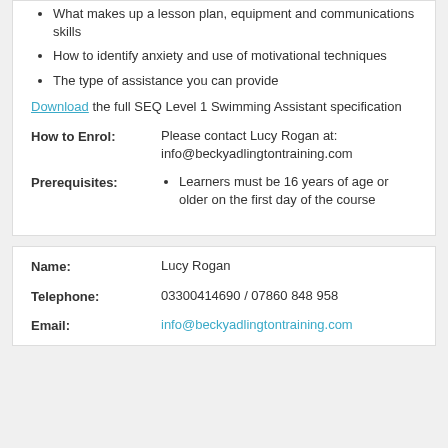What makes up a lesson plan, equipment and communications skills
How to identify anxiety and use of motivational techniques
The type of assistance you can provide
Download the full SEQ Level 1 Swimming Assistant specification
How to Enrol: Please contact Lucy Rogan at: info@beckyadlingtontraining.com
Prerequisites: Learners must be 16 years of age or older on the first day of the course
Name: Lucy Rogan
Telephone: 03300414690 / 07860 848 958
Email: info@beckyadlingtontraining.com